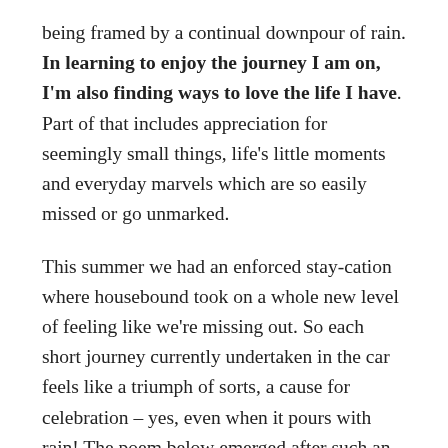being framed by a continual downpour of rain. In learning to enjoy the journey I am on, I'm also finding ways to love the life I have. Part of that includes appreciation for seemingly small things, life's little moments and everyday marvels which are so easily missed or go unmarked.
This summer we had an enforced stay-cation where housebound took on a whole new level of feeling like we're missing out. So each short journey currently undertaken in the car feels like a triumph of sorts, a cause for celebration – yes, even when it pours with rain! The poem below emerged after such an outing when visiting our elder son and his wife.
It reminds me that in every life a little rain will fall, heavy clouds will temporarily obliterate the sun, days may feel